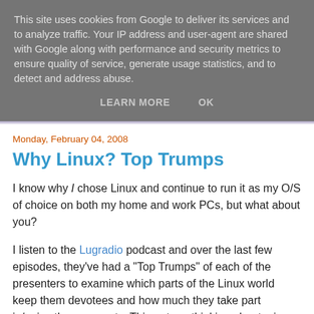This site uses cookies from Google to deliver its services and to analyze traffic. Your IP address and user-agent are shared with Google along with performance and security metrics to ensure quality of service, generate usage statistics, and to detect and address abuse.
LEARN MORE   OK
Monday, February 04, 2008
Why Linux? Top Trumps
I know why I chose Linux and continue to run it as my O/S of choice on both my home and work PCs, but what about you?
I listen to the Lugradio podcast and over the last few episodes, they've had a "Top Trumps" of each of the presenters to examine which parts of the Linux world keep them devotees and how much they take part in/enjoy those aspects. This got me thinking about mine and wondering about friends' reasons ('cos most of my friends are geeks